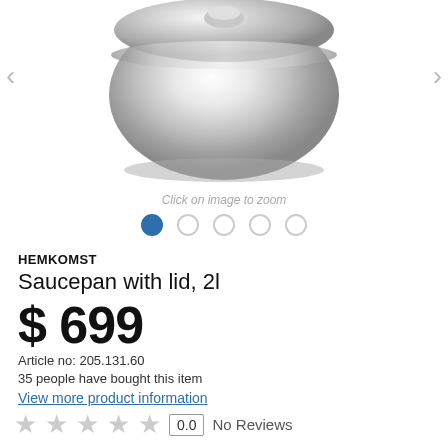[Figure (photo): Stainless steel saucepan with lid, viewed from above/side, showing shiny metallic surface]
Click on image to zoom
HEMKOMST
Saucepan with lid, 2l
$ 699
Article no: 205.131.60
35 people have bought this item
View more product information
0.0  No Reviews